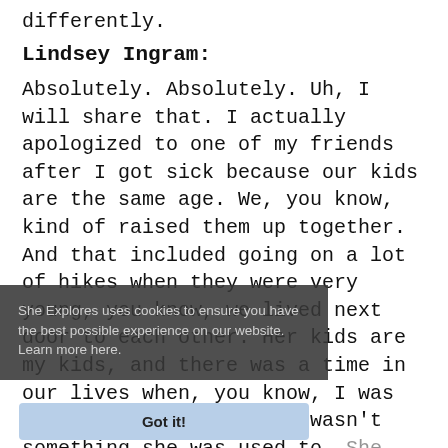differently.
Lindsey Ingram:
Absolutely. Absolutely. Uh, I will share that. I actually apologized to one of my friends after I got sick because our kids are the same age. We, you know, kind of raised them up together. And that included going on a lot of hikes when they were very young, you know, we lived next door to each other. Her kids are my kids, and there was a time in our lives when, you know, I was used to hiking and that wasn't something she was used to. [partially obscured] ...ead with the [partially obscured] ...ould always wait for [partially obscured] ...ch up. But the very early, late twenties, early thirties, me just didn't really think about how that might make her feel. You know, I think we take it for granted
She Explores uses cookies to ensure you have the best possible experience on our website. Learn more here.
Got it!